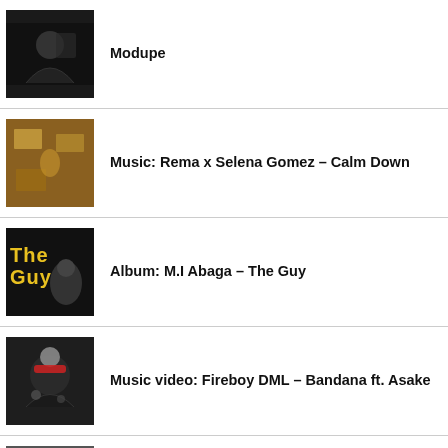Modupe
Music: Rema x Selena Gomez – Calm Down
Album: M.I Abaga – The Guy
Music video: Fireboy DML – Bandana ft. Asake
Music + Lyrics: Asake – Terminator